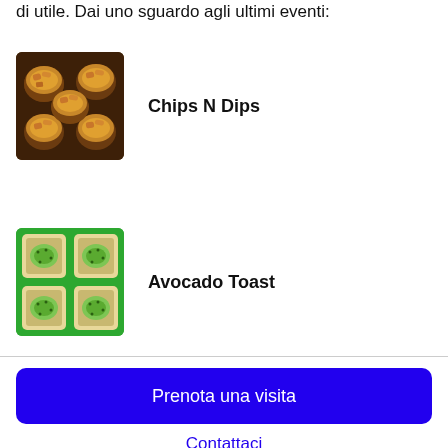di utile. Dai uno sguardo agli ultimi eventi:
[Figure (photo): Photo of chips in small bowls, dark warm tones]
Chips N Dips
[Figure (photo): Photo of avocado toast pieces on green background]
Avocado Toast
Prenota una visita
Contattaci